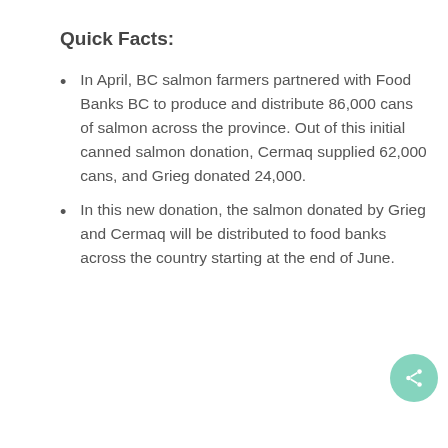Quick Facts:
In April, BC salmon farmers partnered with Food Banks BC to produce and distribute 86,000 cans of salmon across the province. Out of this initial canned salmon donation, Cermaq supplied 62,000 cans, and Grieg donated 24,000.
In this new donation, the salmon donated by Grieg and Cermaq will be distributed to food banks across the country starting at the end of June.